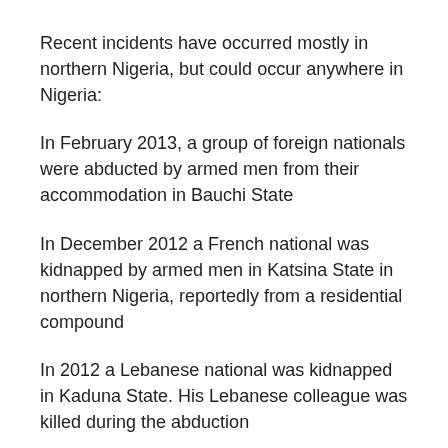Recent incidents have occurred mostly in northern Nigeria, but could occur anywhere in Nigeria:
In February 2013, a group of foreign nationals were abducted by armed men from their accommodation in Bauchi State
In December 2012 a French national was kidnapped by armed men in Katsina State in northern Nigeria, reportedly from a residential compound
In 2012 a Lebanese national was kidnapped in Kaduna State. His Lebanese colleague was killed during the abduction
In January 2012 a German national was kidnapped in Kano and killed in the city on 31 May 2012